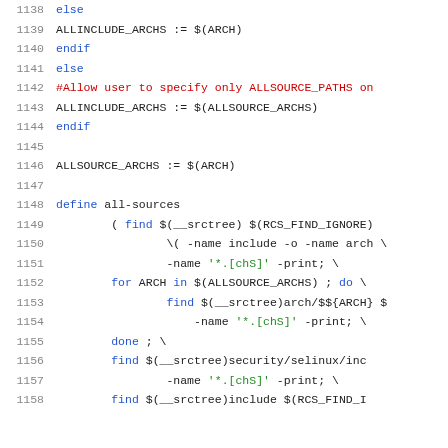Source code listing lines 1138-1158 of a Makefile
1138    else
1139    ALLINCLUDE_ARCHS := $(ARCH)
1140    endif
1141    else
1142    #Allow user to specify only ALLSOURCE_PATHS on
1143    ALLINCLUDE_ARCHS := $(ALLSOURCE_ARCHS)
1144    endif
1145
1146    ALLSOURCE_ARCHS := $(ARCH)
1147
1148    define all-sources
1149            ( find $(__srctree) $(RCS_FIND_IGNORE)
1150                    \( -name include -o -name arch \
1151                    -name '*.{chS}' -print; \
1152            for ARCH in $(ALLSOURCE_ARCHS) ; do \
1153                    find $(__srctree)arch/$${ARCH} $
1154                        -name '*.{chS}' -print; \
1155            done ; \
1156            find $(__srctree)security/selinux/inc
1157                    -name '*.{chS}' -print; \
1158            find $(__srctree)include $(RCS_FIND_I